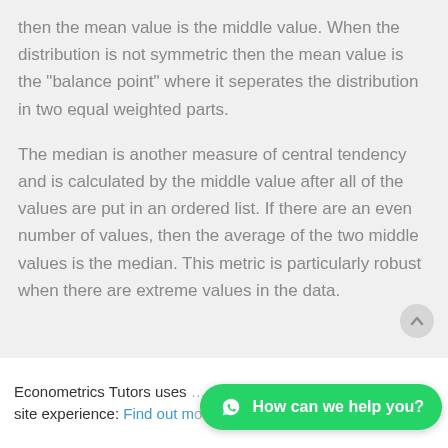then the mean value is the middle value. When the distribution is not symmetric then the mean value is the "balance point" where it seperates the distribution in two equal weighted parts.
The median is another measure of central tendency and is calculated by the middle value after all of the values are put in an ordered list. If there are an even number of values, then the average of the two middle values is the median. This metric is particularly robust when there are extreme values in the data.
Econometrics Tutors uses … site experience: Find out more